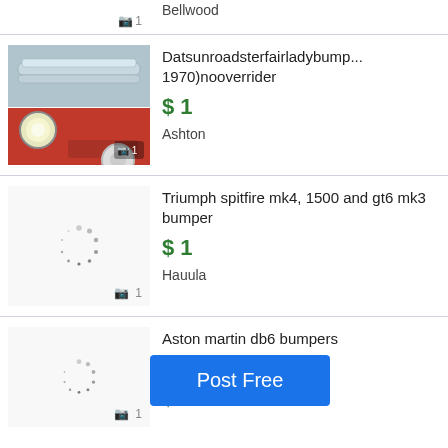[Figure (screenshot): Partial top listing showing camera icon and photo count badge, location Bellwood]
Bellwood
[Figure (photo): Datsun roadster fairlady bumper listing with car photo]
Datsunroadsterfairladybump... 1970)nooverrider
$ 1
Ashton
[Figure (other): Loading spinner for Triumph spitfire listing image]
Triumph spitfire mk4, 1500 and gt6 mk3 bumper
$ 1
Hauula
[Figure (other): Loading spinner for Aston martin db6 bumpers listing image, overlaid by Post Free button]
Aston martin db6 bumpers
Post Free
$ 1